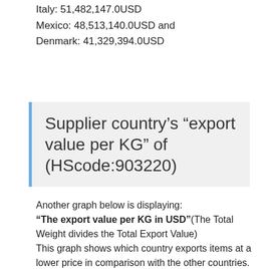Italy: 51,482,147.0USD
Mexico: 48,513,140.0USD and
Denmark: 41,329,394.0USD
Supplier country’s “export value per KG” of (HScode:903220)
Another graph below is displaying:
“The export value per KG in USD”(The Total Weight divides the Total Export Value)
This graph shows which country exports items at a lower price in comparison with the other countries.